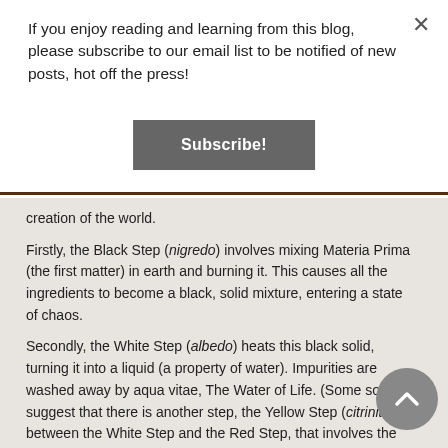If you enjoy reading and learning from this blog, please subscribe to our email list to be notified of new posts, hot off the press!
Subscribe!
creation of the world.
Firstly, the Black Step (nigredo) involves mixing Materia Prima (the first matter) in earth and burning it. This causes all the ingredients to become a black, solid mixture, entering a state of chaos.
Secondly, the White Step (albedo) heats this black solid, turning it into a liquid (a property of water). Impurities are washed away by aqua vitae, The Water of Life. (Some sources suggest that there is another step, the Yellow Step (citrinitas), between the White Step and the Red Step, that involves the "yellowing" of the matter.